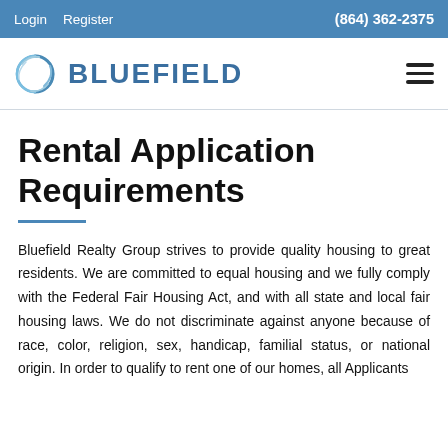Login  Register  (864) 362-2375
[Figure (logo): Bluefield logo: circular ribbon icon in blue/teal with the word BLUEFIELD in bold blue letters]
Rental Application Requirements
Bluefield Realty Group strives to provide quality housing to great residents. We are committed to equal housing and we fully comply with the Federal Fair Housing Act, and with all state and local fair housing laws. We do not discriminate against anyone because of race, color, religion, sex, handicap, familial status, or national origin. In order to qualify to rent one of our homes, all Applicants